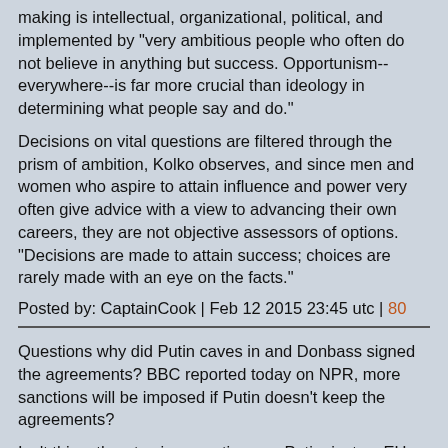making is intellectual, organizational, political, and implemented by "very ambitious people who often do not believe in anything but success. Opportunism--everywhere--is far more crucial than ideology in determining what people say and do."
Decisions on vital questions are filtered through the prism of ambition, Kolko observes, and since men and women who aspire to attain influence and power very often give advice with a view to advancing their own careers, they are not objective assessors of options. "Decisions are made to attain success; choices are rarely made with an eye on the facts."
Posted by: CaptainCook | Feb 12 2015 23:45 utc | 80
Questions why did Putin caves in and Donbass signed the agreements? BBC reported today on NPR, more sanctions will be imposed if Putin doesn't keep the agreements?
Isn't this a threat using sanctions on Putin, just as EU warned Putin repeatedly in the past not to use gas as threats?
Posted by: Jack Smith | Feb 12 2015 23:46 utc | 81
Ukraine gets new $40 billion Lifeline